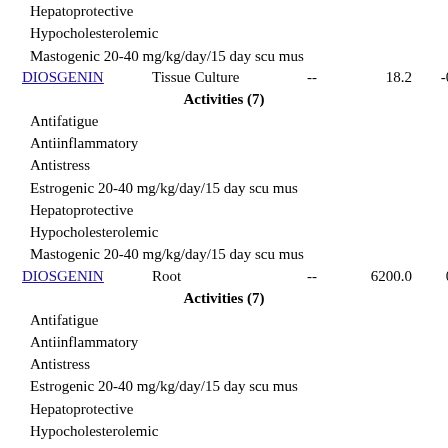Hepatoprotective
Hypocholesterolemic
Mastogenic 20-40 mg/kg/day/15 day scu mus
DIOSGENIN    Tissue Culture    --    18.2    -0.71
Activities (7)
Antifatigue
Antiinflammatory
Antistress
Estrogenic 20-40 mg/kg/day/15 day scu mus
Hepatoprotective
Hypocholesterolemic
Mastogenic 20-40 mg/kg/day/15 day scu mus
DIOSGENIN    Root    --    6200.0    0.74
Activities (7)
Antifatigue
Antiinflammatory
Antistress
Estrogenic 20-40 mg/kg/day/15 day scu mus
Hepatoprotective
Hypocholesterolemic
Mastogenic 20-40 mg/kg/day/15 day scu mus